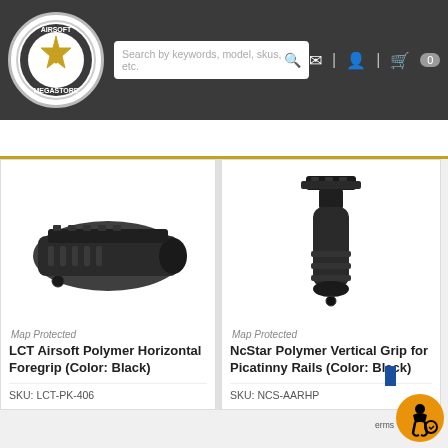[Figure (screenshot): Airsoft Megastore website header with logo, search bar, navigation icons, and product listings]
Search by keywords, model, skus, etc.
Map Protected
LCT Airsoft Polymer Horizontal Foregrip (Color: Black)
SKU: LCT-PK-406
Map Protected
NcStar Polymer Vertical Grip for Picatinny Rails (Color: Black)
SKU: NCS-AARHP